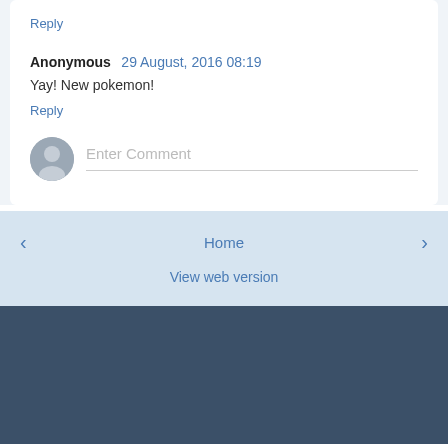Reply
Anonymous  29 August, 2016 08:19
Yay! New pokemon!
Reply
Enter Comment
‹
Home
›
View web version